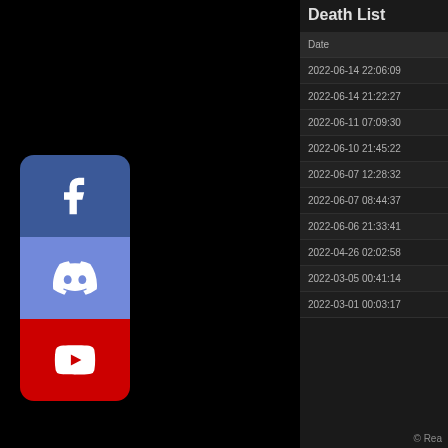[Figure (logo): Facebook icon (white 'f' on blue background)]
[Figure (logo): Discord icon (white controller on purple/blue background)]
[Figure (logo): YouTube icon (white play button on red background)]
Death List
| Date |
| --- |
| 2022-06-14 22:06:09 |
| 2022-06-14 21:22:27 |
| 2022-06-11 07:09:30 |
| 2022-06-10 21:45:22 |
| 2022-06-07 12:28:32 |
| 2022-06-07 08:44:37 |
| 2022-06-06 21:33:41 |
| 2022-04-26 02:02:58 |
| 2022-03-05 00:41:14 |
| 2022-03-01 00:03:17 |
© Rea